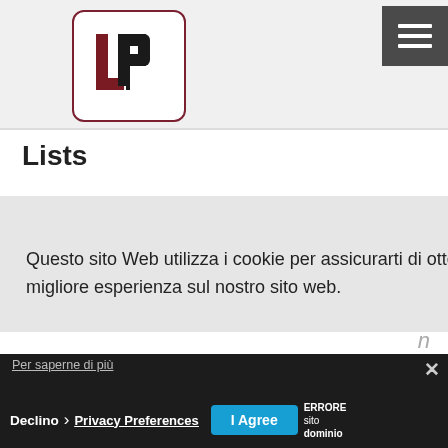[Figure (logo): LP logo in a rounded square border with dark red L and black P letters]
[Figure (other): Hamburger menu button (three horizontal white lines on dark grey background)]
Lists
Questo sito Web utilizza i cookie per assicurarti di ottenere la migliore esperienza sul nostro sito web.
Per saperne di più
Declino › Privacy Preferences
I Agree
ERRORE sito dominio